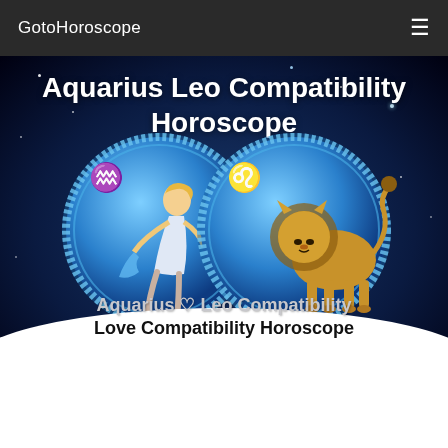GotoHoroscope
Aquarius Leo Compatibility Horoscope
[Figure (illustration): Two circular zodiac sign emblems side by side on a dark blue cosmic background. Left circle shows the Aquarius symbol (wavy lines) with a female figure pouring water. Right circle shows Leo symbol with a golden lion rearing up. Both circles have a blue zodiac wheel border with 'GotoHoroscope' text around the rim.]
Aquarius ♥ Leo Compatibility Love Compatibility Horoscope